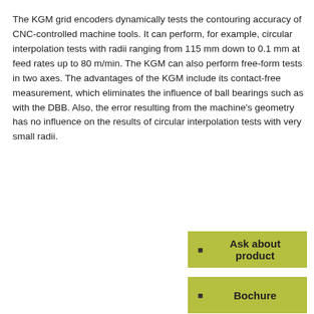The KGM grid encoders dynamically tests the contouring accuracy of CNC-controlled machine tools. It can perform, for example, circular interpolation tests with radii ranging from 115 mm down to 0.1 mm at feed rates up to 80 m/min. The KGM can also perform free-form tests in two axes. The advantages of the KGM include its contact-free measurement, which eliminates the influence of ball bearings such as with the DBB. Also, the error resulting from the machine's geometry has no influence on the results of circular interpolation tests with very small radii.
Ask about product
Bochure